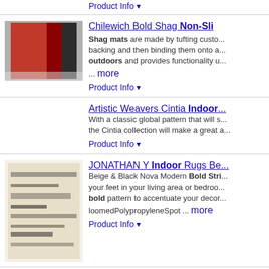Product Info ▼
Chilewich Bold Shag Non-Sli...
Shag mats are made by tufting custo... backing and then binding them onto a... outdoors and provides functionality u... ... more
Product Info ▼
Artistic Weavers Cintia Indoor...
With a classic global pattern that will s... the Cintia collection will make a great a...
Product Info ▼
JONATHAN Y Indoor Rugs Be...
Beige & Black Nova Modern Bold Stri... your feet in your living area or bedroo... bold pattern to accentuate your decor... loomedPolypropyleneSpot ... more
Product Info ▼
Nourison Calobra Traditional G...
With a palette of rich blues, mysterious... a fresh and sophisticated look in an in...
Product Info ▼
Liora Manne Indoor Rugs Re...